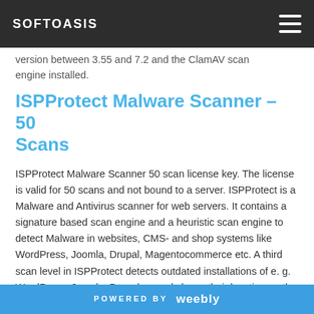SOFTOASIS
version between 3.55 and 7.2 and the ClamAV scan engine installed.
ISPProtect Malware Scanner - 50 Scans
ISPProtect Malware Scanner 50 scan license key. The license is valid for 50 scans and not bound to a server. ISPProtect is a Malware and Antivirus scanner for web servers. It contains a signature based scan engine and a heuristic scan engine to detect Malware in websites, CMS- and shop systems like WordPress, Joomla, Drupal, Magentocommerce etc. A third scan level in ISPProtect detects outdated installations of e. g. WordPress, Joomla, Drupal, ... and shows their location on the web server. ISPProt...
POWERED BY weebly